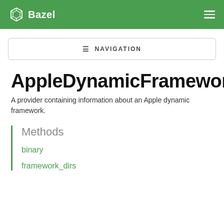Bazel
[Figure (other): Navigation button with hamburger menu icon and text NAVIGATION]
AppleDynamicFramework
A provider containing information about an Apple dynamic framework.
Methods
binary
framework_dirs